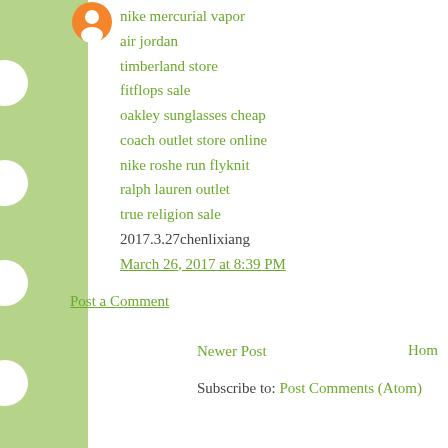[Figure (illustration): Orange circular avatar/profile icon with a person silhouette]
nike mercurial vapor
air jordan
timberland store
fitflops sale
oakley sunglasses cheap
coach outlet store online
nike roshe run flyknit
ralph lauren outlet
true religion sale
2017.3.27chenlixiang
March 26, 2017 at 8:39 PM
Post a Comment
Newer Post
Hom
Subscribe to: Post Comments (Atom)